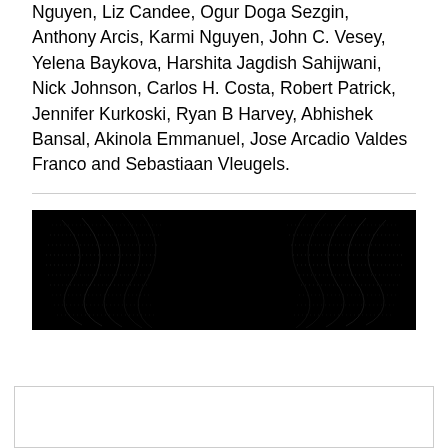Nguyen, Liz Candee, Ogur Doga Sezgin, Anthony Arcis, Karmi Nguyen, John C. Vesey, Yelena Baykova, Harshita Jagdish Sahijwani, Nick Johnson, Carlos H. Costa, Robert Patrick, Jennifer Kurkoski, Ryan B Harvey, Abhishek Bansal, Akinola Emmanuel, Jose Arcadio Valdes Franco and Sebastiaan Vleugels.
[Figure (photo): A dark abstract image with a black background featuring faint wave-like or dotted curved patterns in dark grey, suggesting a scientific or artistic visualization.]